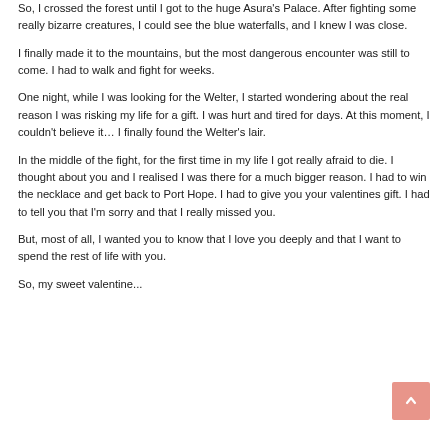So, I crossed the forest until I got to the huge Asura's Palace. After fighting some really bizarre creatures, I could see the blue waterfalls, and I knew I was close.
I finally made it to the mountains, but the most dangerous encounter was still to come. I had to walk and fight for weeks.
One night, while I was looking for the Welter, I started wondering about the real reason I was risking my life for a gift. I was hurt and tired for days. At this moment, I couldn't believe it… I finally found the Welter's lair.
In the middle of the fight, for the first time in my life I got really afraid to die. I thought about you and I realised I was there for a much bigger reason. I had to win the necklace and get back to Port Hope. I had to give you your valentines gift. I had to tell you that I'm sorry and that I really missed you.
But, most of all, I wanted you to know that I love you deeply and that I want to spend the rest of life with you.
So, my sweet valentine...